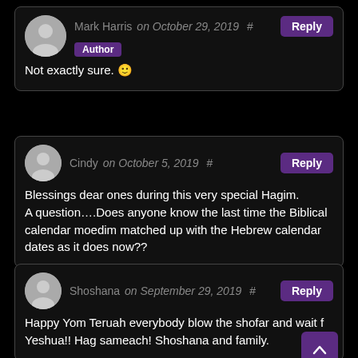Mark Harris on October 29, 2019 # Reply [Author] Not exactly sure. 🙂
Cindy on October 5, 2019 # Reply Blessings dear ones during this very special Hagim. A question….Does anyone know the last time the Biblical calendar moedim matched up with the Hebrew calendar dates as it does now??
Shoshana on September 29, 2019 # Reply Happy Yom Teruah everybody blow the shofar and wait for Yeshua!! Hag sameach! Shoshana and family.